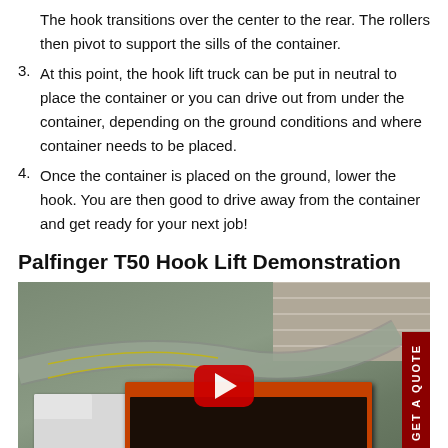The hook transitions over the center to the rear. The rollers then pivot to support the sills of the container.
3. At this point, the hook lift truck can be put in neutral to place the container or you can drive out from under the container, depending on the ground conditions and where container needs to be placed.
4. Once the container is placed on the ground, lower the hook. You are then good to drive away from the container and get ready for your next job!
Palfinger T50 Hook Lift Demonstration
[Figure (photo): Aerial view of a hook lift truck with an orange container in a parking lot. A red YouTube play button overlay appears in the center. A dark red 'GET A QUOTE' tab is visible on the right edge.]